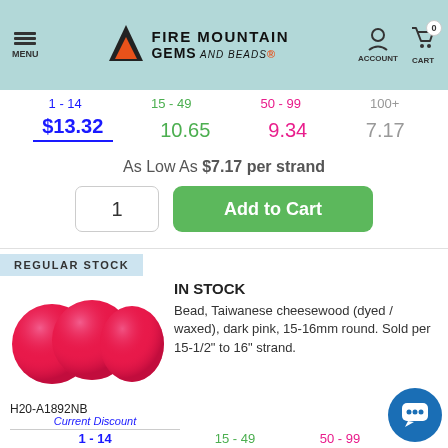MENU | FIRE MOUNTAIN GEMS and Beads | ACCOUNT | CART 0
| 1 - 14 | 15 - 49 | 50 - 99 | 100+ |
| --- | --- | --- | --- |
| $13.32 | 10.65 | 9.34 | 7.17 |
As Low As $7.17 per strand
1  Add to Cart
REGULAR STOCK
IN STOCK
Bead, Taiwanese cheesewood (dyed / waxed), dark pink, 15-16mm round. Sold per 15-1/2" to 16" strand.
[Figure (photo): Three dark pink round wooden beads, 15-16mm, arranged in a cluster]
H20-A1892NB
| Current Discount |  |  |  |
| --- | --- | --- | --- |
| 1 - 14 | 15 - 49 | 50 - 99 |  |
| $6.58 | 5.09 | 3.69 | 3.xx |